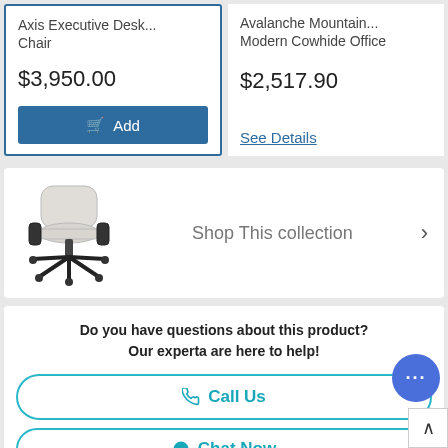Axis Executive Desk... Chair
$3,950.00
Add
Avalanche Mountain... Modern Cowhide Office
$2,517.90
See Details
[Figure (photo): Office chair with white/light gray fabric seat and back, black armrests and base]
Shop This collection
Do you have questions about this product? Our experta are here to help!
Call Us
Chat Now